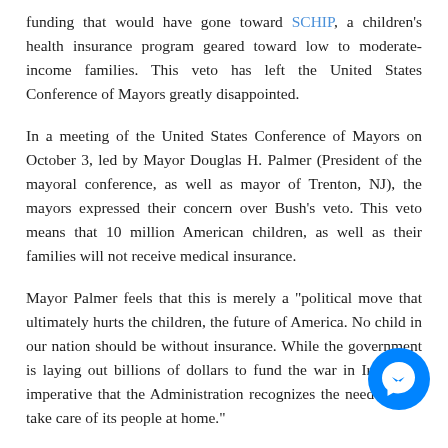funding that would have gone toward SCHIP, a children's health insurance program geared toward low to moderate-income families. This veto has left the United States Conference of Mayors greatly disappointed.
In a meeting of the United States Conference of Mayors on October 3, led by Mayor Douglas H. Palmer (President of the mayoral conference, as well as mayor of Trenton, NJ), the mayors expressed their concern over Bush's veto. This veto means that 10 million American children, as well as their families will not receive medical insurance.
Mayor Palmer feels that this is merely a "political move that ultimately hurts the children, the future of America. No child in our nation should be without insurance. While the government is laying out billions of dollars to fund the war in Iraq, it is imperative that the Administration recognizes the need to also take care of its people at home."
In the conference, Bush's portrayal of the bill being a physical divide between Democrats and Republicans was also criticize